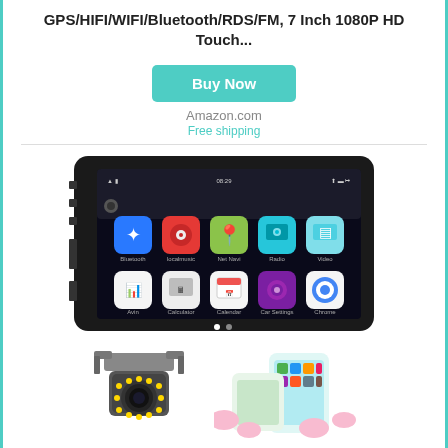GPS/HIFI/WIFI/Bluetooth/RDS/FM, 7 Inch 1080P HD Touch...
Buy Now
Amazon.com
Free shipping
[Figure (photo): Car Android head unit stereo with touchscreen showing app icons (Bluetooth, localmusic, Net Navi, Radio, Video, Avin, Calculator, Calendar, Car Settings, Chrome), with physical buttons on left side]
[Figure (photo): Backup camera accessory and smartphone mirroring accessory shown below the head unit]